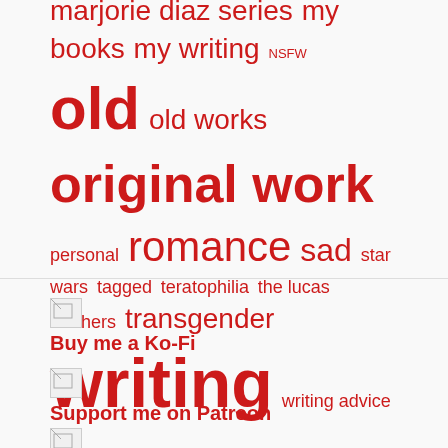marjorie diaz series my books my writing NSFW old old works original work personal romance sad star wars tagged teratophilia the lucas brothers transgender writing writing advice
[Figure (other): Broken image placeholder labeled 'kofi']
Buy me a Ko-Fi
[Figure (other): Broken image placeholder labeled '599475']
Support me on Patreon